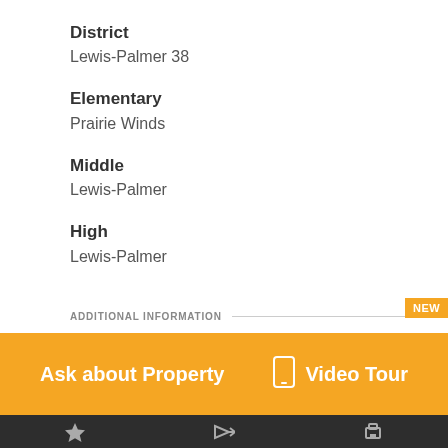District
Lewis-Palmer 38
Elementary
Prairie Winds
Middle
Lewis-Palmer
High
Lewis-Palmer
ADDITIONAL INFORMATION
NEW
Ask about Property
Video Tour